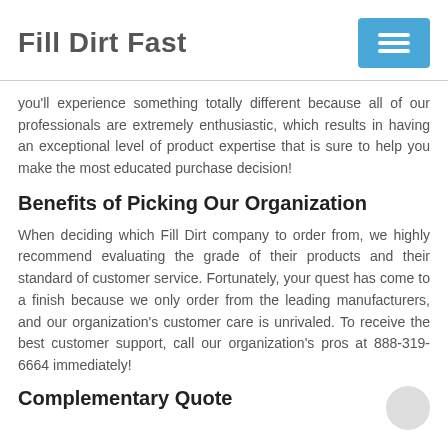Fill Dirt Fast
you'll experience something totally different because all of our professionals are extremely enthusiastic, which results in having an exceptional level of product expertise that is sure to help you make the most educated purchase decision!
Benefits of Picking Our Organization
When deciding which Fill Dirt company to order from, we highly recommend evaluating the grade of their products and their standard of customer service. Fortunately, your quest has come to a finish because we only order from the leading manufacturers, and our organization's customer care is unrivaled. To receive the best customer support, call our organization's pros at 888-319-6664 immediately!
Complementary Quote